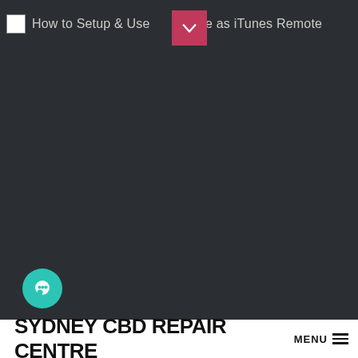How to Setup & Use iPhone as iTunes Remote
[Figure (screenshot): Dark background body area of a webpage with a teal chat bubble button on the left side]
SYDNEY CBD REPAIR CENTRE  MENU  ≡